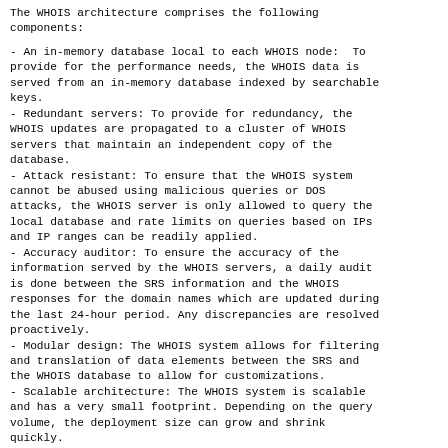The WHOIS architecture comprises the following components:
- An in-memory database local to each WHOIS node:  To provide for the performance needs, the WHOIS data is served from an in-memory database indexed by searchable keys.
- Redundant servers: To provide for redundancy, the WHOIS updates are propagated to a cluster of WHOIS servers that maintain an independent copy of the database.
- Attack resistant: To ensure that the WHOIS system cannot be abused using malicious queries or DOS attacks, the WHOIS server is only allowed to query the local database and rate limits on queries based on IPs and IP ranges can be readily applied.
- Accuracy auditor: To ensure the accuracy of the information served by the WHOIS servers, a daily audit is done between the SRS information and the WHOIS responses for the domain names which are updated during the last 24-hour period. Any discrepancies are resolved proactively.
- Modular design: The WHOIS system allows for filtering and translation of data elements between the SRS and the WHOIS database to allow for customizations.
- Scalable architecture: The WHOIS system is scalable and has a very small footprint. Depending on the query volume, the deployment size can grow and shrink quickly.
- Flexible: It is flexible enough to accommodate thin,